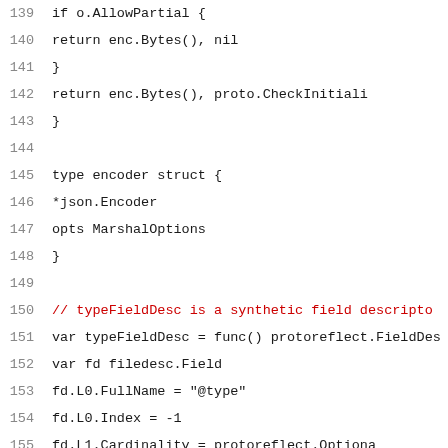Source code listing, lines 139-160, Go programming language